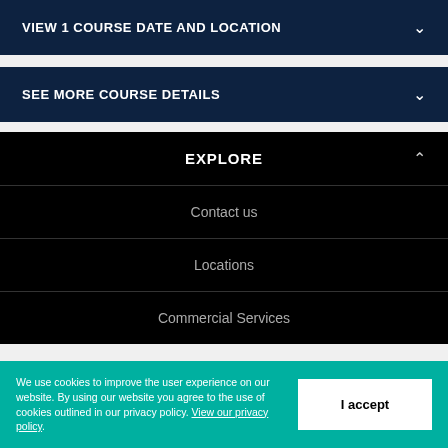VIEW 1 COURSE DATE AND LOCATION
SEE MORE COURSE DETAILS
EXPLORE
Contact us
Locations
Commercial Services
We use cookies to improve the user experience on our website. By using our website you agree to the use of cookies outlined in our privacy policy. View our privacy policy.